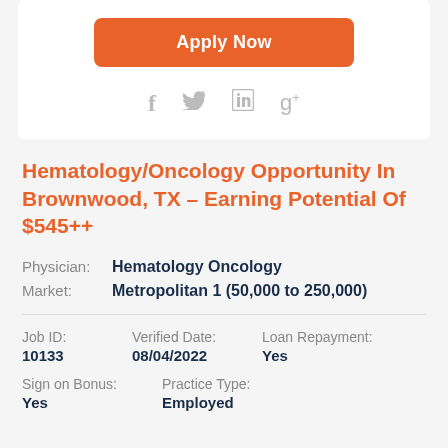[Figure (other): Orange 'Apply Now' button and social media icons (Facebook, Twitter, LinkedIn, Google+) in a white card]
Hematology/Oncology Opportunity In Brownwood, TX – Earning Potential Of $545++
Physician: Hematology Oncology
Market: Metropolitan 1 (50,000 to 250,000)
| Job ID: | Verified Date: | Loan Repayment: |
| --- | --- | --- |
| 10133 | 08/04/2022 | Yes |
| Sign on Bonus: | Practice Type: |
| --- | --- |
| Yes | Employed |